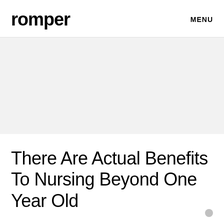romper   MENU
[Figure (photo): Large hero image area with light gray background placeholder]
There Are Actual Benefits To Nursing Beyond One Year Old